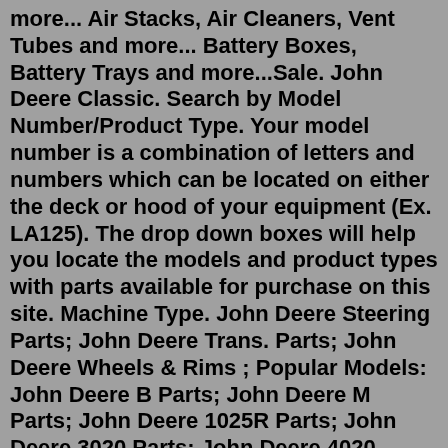more... Air Stacks, Air Cleaners, Vent Tubes and more... Battery Boxes, Battery Trays and more...Sale. John Deere Classic. Search by Model Number/Product Type. Your model number is a combination of letters and numbers which can be located on either the deck or hood of your equipment (Ex. LA125). The drop down boxes will help you locate the models and product types with parts available for purchase on this site. Machine Type. John Deere Steering Parts; John Deere Trans. Parts; John Deere Wheels & Rims ; Popular Models: John Deere B Parts; John Deere M Parts; John Deere 1025R Parts; John Deere 3020 Parts; John Deere 4020 Parts; John Deere 4430 Parts; John Deere 4440 Parts; John Deere 6400 Parts; John Deere 7320 Parts; Shop all John Deere Tractors Operator's Manual LX172, LX176, LX178, and LX188 (OMM120367) published in 1993, by John Deere. Operator's Manual LX172, LX173, LX176, LX178, and LX188 (OMM134134) published in 1997, by John Deere. Lawn & Grounds Care Sales Manual published in